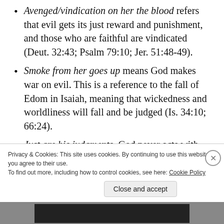Avenged/vindication on her the blood refers that evil gets its just reward and punishment, and those who are faithful are vindicated (Deut. 32:43; Psalm 79:10; Jer. 51:48-49).
Smoke from her goes up means God makes war on evil. This is a reference to the fall of Edom in Isaiah, meaning that wickedness and worldliness will fall and be judged (Is. 34:10; 66:24).
Just are his judgments. God never acts with
Privacy & Cookies: This site uses cookies. By continuing to use this website, you agree to their use.
To find out more, including how to control cookies, see here: Cookie Policy
Close and accept